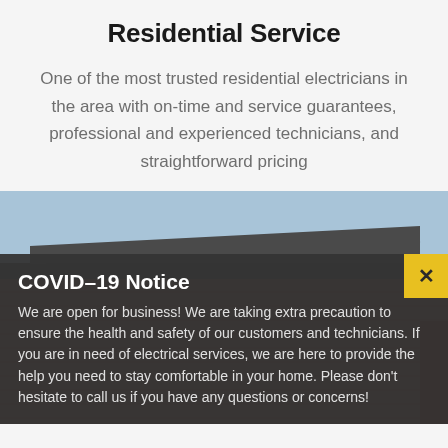Residential Service
One of the most trusted residential electricians in the area with on-time and service guarantees, professional and experienced technicians, and straightforward pricing
[Figure (photo): Photo of a brick building exterior with roof edge against a blue sky, overlaid with a dark semi-transparent panel containing a COVID-19 Notice.]
COVID-19 Notice
We are open for business! We are taking extra precaution to ensure the health and safety of our customers and technicians. If you are in need of electrical services, we are here to provide the help you need to stay comfortable in your home. Please don't hesitate to call us if you have any questions or concerns!